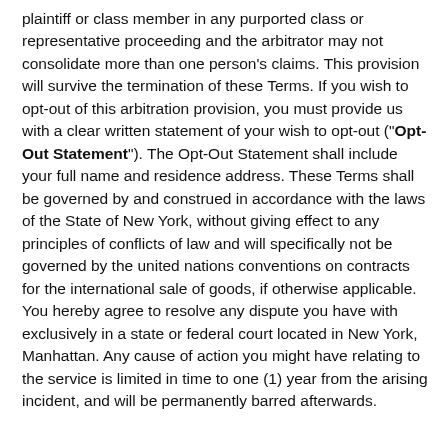plaintiff or class member in any purported class or representative proceeding and the arbitrator may not consolidate more than one person's claims. This provision will survive the termination of these Terms. If you wish to opt-out of this arbitration provision, you must provide us with a clear written statement of your wish to opt-out ("Opt-Out Statement"). The Opt-Out Statement shall include your full name and residence address. These Terms shall be governed by and construed in accordance with the laws of the State of New York, without giving effect to any principles of conflicts of law and will specifically not be governed by the united nations conventions on contracts for the international sale of goods, if otherwise applicable. You hereby agree to resolve any dispute you have with exclusively in a state or federal court located in New York, Manhattan. Any cause of action you might have relating to the service is limited in time to one (1) year from the arising incident, and will be permanently barred afterwards.